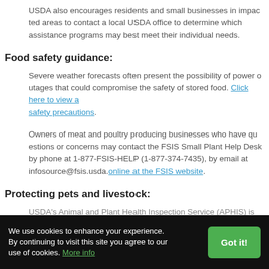USDA also encourages residents and small businesses in impacted areas to contact a local USDA office to determine which assistance programs may best meet their individual needs.
Food safety guidance:
Severe weather forecasts often present the possibility of power outages that could compromise the safety of stored food. Click here to view a list of food safety precautions.
Owners of meat and poultry producing businesses who have questions or concerns may contact the FSIS Small Plant Help Desk by phone at 1-877-FSIS-HELP (1-877-374-7435), by email at infosource@fsis.usda.gov, or online at the FSIS website.
Protecting pets and livestock:
USDA's Animal and Plant Health Inspection Service (APHIS) is
We use cookies to enhance your experience. By continuing to visit this site you agree to our use of cookies. More info